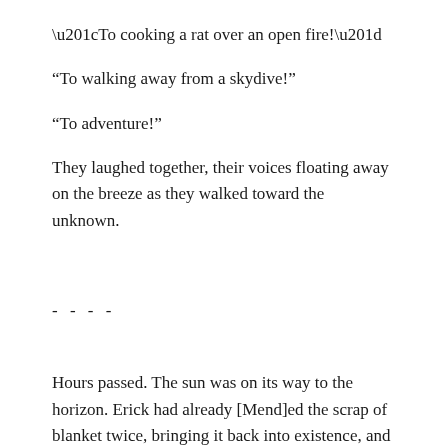“To cooking a rat over an open fire!”
“To walking away from a skydive!”
“To adventure!”
They laughed together, their voices floating away on the breeze as they walked toward the unknown.
- - - -
Hours passed. The sun was on its way to the horizon. Erick had already [Mend]ed the scrap of blanket twice, bringing it back into existence, and handed it over to Jane. She carried a few other things to be mended inside the thick cloth. The [Mend] on the book went less well. One[Mend] accomplished almost nothing. Books must be complicated objects.